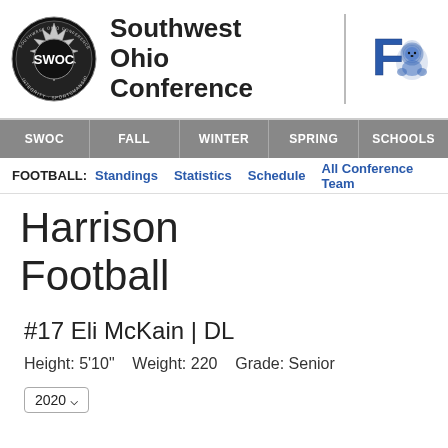[Figure (logo): SWOC circular logo with text Southwest Ohio Conference]
Southwest Ohio Conference
[Figure (logo): Harrison school mascot logo - lion/panther in blue]
SWOC | FALL | WINTER | SPRING | SCHOOLS
FOOTBALL: Standings Statistics Schedule All Conference Team
Harrison Football
#17 Eli McKain | DL
Height: 5'10"    Weight: 220    Grade: Senior
2020